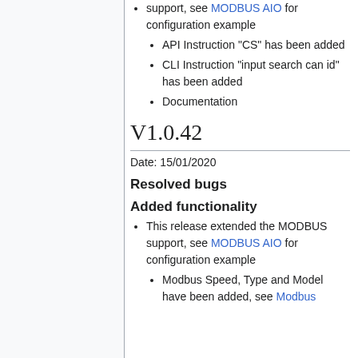support, see MODBUS AIO for configuration example
API Instruction "CS" has been added
CLI Instruction "input search can id" has been added
Documentation
V1.0.42
Date: 15/01/2020
Resolved bugs
Added functionality
This release extended the MODBUS support, see MODBUS AIO for configuration example
Modbus Speed, Type and Model have been added, see Modbus